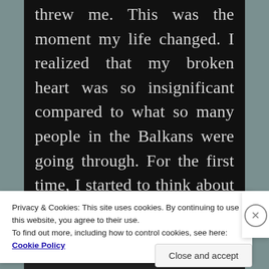threw me. This was the moment my life changed. I realized that my broken heart was so insignificant compared to what so many people in the Balkans were going through. For the first time, I started to think about my future goals and what I could do to help others. It was not just that he had seen my hurt and
Privacy & Cookies: This site uses cookies. By continuing to use this website, you agree to their use.
To find out more, including how to control cookies, see here: Cookie Policy